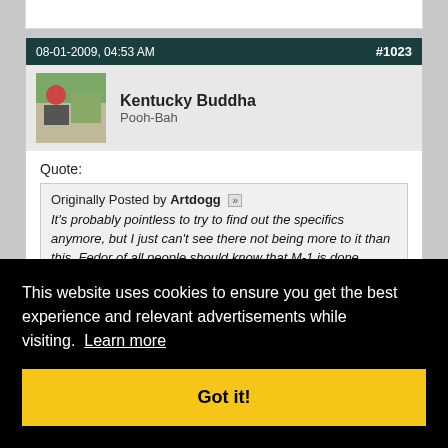08-01-2009, 04:53 AM  #1023
Kentucky Buddha
Pooh-Bah
Quote:
Originally Posted by Artdogg
It's probably pointless to try to find out the specifics anymore, but I just can't see there not being more to it than this. Fedor of all people should know that M-1 is done ... FC ... kind of
This website uses cookies to ensure you get the best experience and relevant advertisements while visiting. Learn more
Got it!
#1024
bluef0x